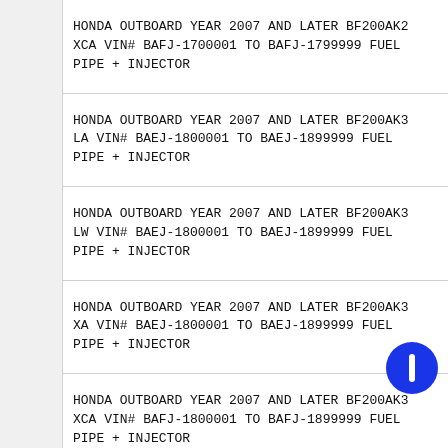HONDA OUTBOARD YEAR 2007 AND LATER BF200AK2 XCA VIN# BAFJ-1700001 TO BAFJ-1799999 FUEL PIPE + INJECTOR
HONDA OUTBOARD YEAR 2007 AND LATER BF200AK3 LA VIN# BAEJ-1800001 TO BAEJ-1899999 FUEL PIPE + INJECTOR
HONDA OUTBOARD YEAR 2007 AND LATER BF200AK3 LW VIN# BAEJ-1800001 TO BAEJ-1899999 FUEL PIPE + INJECTOR
HONDA OUTBOARD YEAR 2007 AND LATER BF200AK3 XA VIN# BAEJ-1800001 TO BAEJ-1899999 FUEL PIPE + INJECTOR
HONDA OUTBOARD YEAR 2007 AND LATER BF200AK3 XCA VIN# BAFJ-1800001 TO BAFJ-1899999 FUEL PIPE + INJECTOR
HONDA OUTBOARD YEAR 2007 AND LATER BF200AK3 XCW